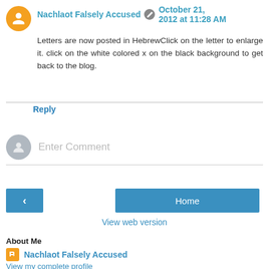Nachlaot Falsely Accused  October 21, 2012 at 11:28 AM
Letters are now posted in HebrewClick on the letter to enlarge it. click on the white colored x on the black background to get back to the blog.
Reply
Enter Comment
Home
View web version
About Me
Nachlaot Falsely Accused
View my complete profile